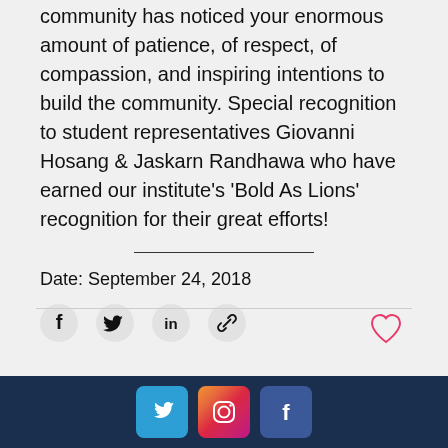community has noticed your enormous amount of patience, of respect, of compassion, and inspiring intentions to build the community. Special recognition to student representatives Giovanni Hosang & Jaskarn Randhawa who have earned our institute's 'Bold As Lions' recognition for their great efforts!
Date: September 24, 2018
[Figure (infographic): Share icons row: Facebook, Twitter, LinkedIn, and link/copy icons]
[Figure (infographic): Social media footer bar with Twitter, Instagram, and Facebook icons on dark navy background]